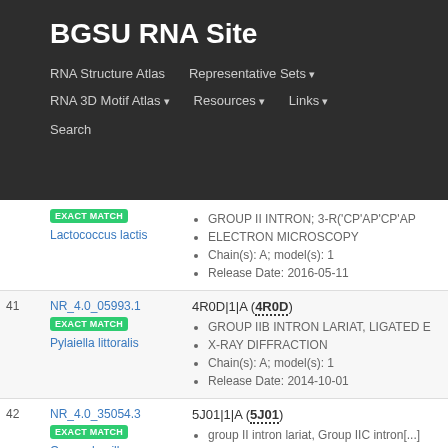BGSU RNA Site
RNA Structure Atlas | Representative Sets ▾ | RNA 3D Motif Atlas ▾ | Resources ▾ | Links ▾ | Search
| # | ID / Species | Structure Info |
| --- | --- | --- |
|  | NR_4.0_... EXACT MATCH Lactococcus lactis | GROUP II INTRON; 3-R('CP'AP'CP'AP… • ELECTRON MICROSCOPY • Chain(s): A; model(s): 1 • Release Date: 2016-05-11 |
| 41 | NR_4.0_05993.1 EXACT MATCH Pylaiella littoralis | 4R0D|1|A (4R0D) • GROUP IIB INTRON LARIAT, LIGATED E… • X-RAY DIFFRACTION • Chain(s): A; model(s): 1 • Release Date: 2014-10-01 |
| 42 | NR_4.0_35054.3 EXACT MATCH Oceanobacillus iheyensis | 5J01|1|A (5J01) • group II intron lariat, Group IIC intron[...] • X-RAY DIFFRACTION • Chain(s): A; model(s): 1 • Release Date: 2016-10-11 |